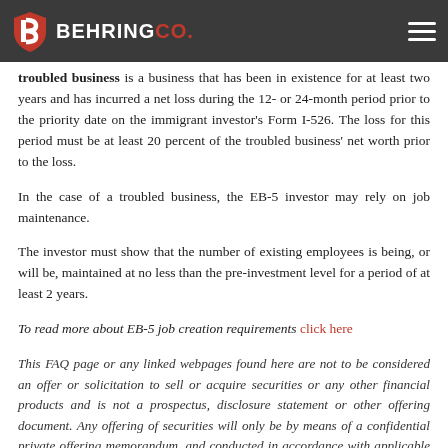BEHRING CO.
troubled business is a business that has been in existence for at least two years and has incurred a net loss during the 12- or 24-month period prior to the priority date on the immigrant investor's Form I-526. The loss for this period must be at least 20 percent of the troubled business' net worth prior to the loss.
In the case of a troubled business, the EB-5 investor may rely on job maintenance.
The investor must show that the number of existing employees is being, or will be, maintained at no less than the pre-investment level for a period of at least 2 years.
To read more about EB-5 job creation requirements click here
This FAQ page or any linked webpages found here are not to be considered an offer or solicitation to sell or acquire securities or any other financial products and is not a prospectus, disclosure statement or other offering document. Any offering of securities will only be by means of a confidential private offering memorandum, and conducted in accordance with applicable law.